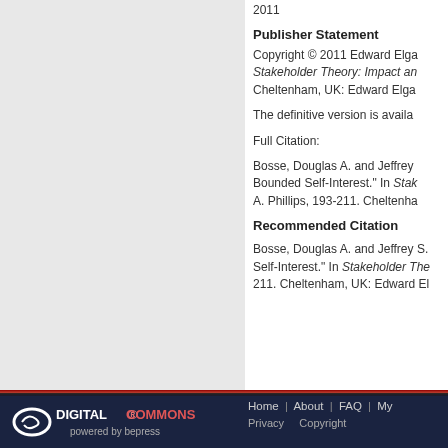2011
Publisher Statement
Copyright © 2011 Edward Elga... Stakeholder Theory: Impact an... Cheltenham, UK: Edward Elga...
The definitive version is availa...
Full Citation:
Bosse, Douglas A. and Jeffrey... Bounded Self-Interest." In Stak... A. Phillips, 193-211. Cheltenha...
Recommended Citation
Bosse, Douglas A. and Jeffrey S.... Self-Interest." In Stakeholder The... 211. Cheltenham, UK: Edward El...
[Figure (logo): Digital Commons powered by bepress logo in white on dark navy background]
Home | About | FAQ | My... Privacy   Copyright